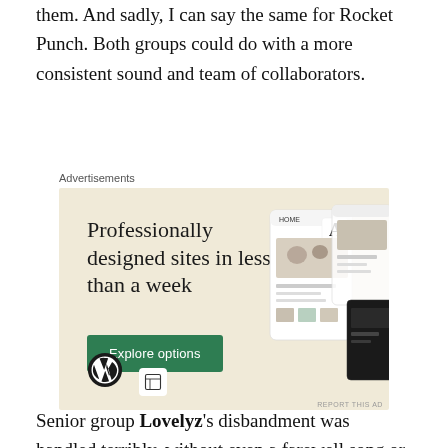them. And sadly, I can say the same for Rocket Punch. Both groups could do with a more consistent sound and team of collaborators.
Advertisements
[Figure (other): WordPress advertisement: 'Professionally designed sites in less than a week' with green 'Explore options' button, WordPress logo, and mock website screenshots on beige background.]
Senior group Lovelyz's disbandment was handled terribly, without even a farewell song or album for the fans. Woollim